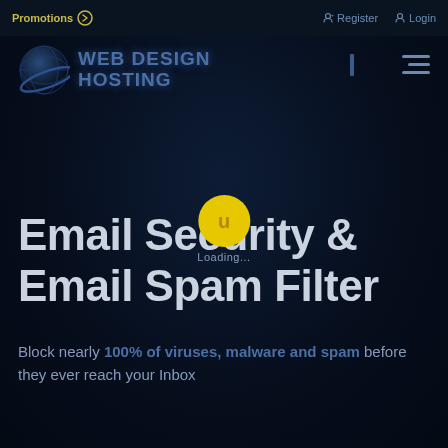Promotions → Register Login
[Figure (logo): Web Design Hosting logo with globe icon and stylized text]
[Figure (other): Loading spinner — yellow circle with letter 'u' and 'Loading...' text below]
Email Security & Email Spam Filter
Block nearly 100% of viruses, malware and spam before they ever reach your Inbox